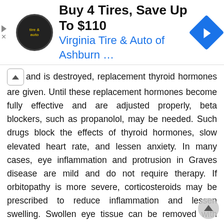[Figure (screenshot): Advertisement banner: 'Buy 4 Tires, Save Up To $110 / Virginia Tire & Auto of Ashburn ...' with tire & auto logo and navigation icon]
and is destroyed, replacement thyroid hormones are given. Until these replacement hormones become fully effective and are adjusted properly, beta blockers, such as propanolol, may be needed. Such drugs block the effects of thyroid hormones, slow elevated heart rate, and lessen anxiety. In many cases, eye inflammation and protrusion in Graves disease are mild and do not require therapy. If orbitopathy is more severe, corticosteroids may be prescribed to reduce inflammation and lessen swelling. Swollen eye tissue can be removed with surgery, and swollen muscles around the eye can be repaired; surgery to enlarge the bony opening around the eyes is done only if other treatments are unsuccessful. What Is Sjögren s Syndrome? As many as four million Americans about 90 percent of them women may have Sjögren s syndrome, in which the immune system attacks the body s moisture-producing glands and tissues. These include the lacrimal glands that produce tears and the salivary glands as well